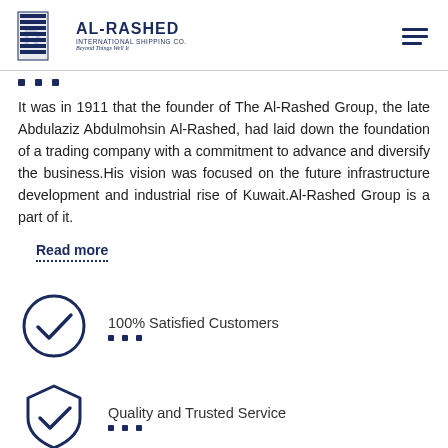AL-RASHED INTERNATIONAL SHIPPING CO.
It was in 1911 that the founder of The Al-Rashed Group, the late Abdulaziz Abdulmohsin Al-Rashed, had laid down the foundation of a trading company with a commitment to advance and diversify the business.His vision was focused on the future infrastructure development and industrial rise of Kuwait.Al-Rashed Group is a part of it.
Read more
[Figure (illustration): Circle with checkmark icon - 100% Satisfied Customers]
100% Satisfied Customers
[Figure (illustration): Shield with checkmark icon - Quality and Trusted Service]
Quality and Trusted Service